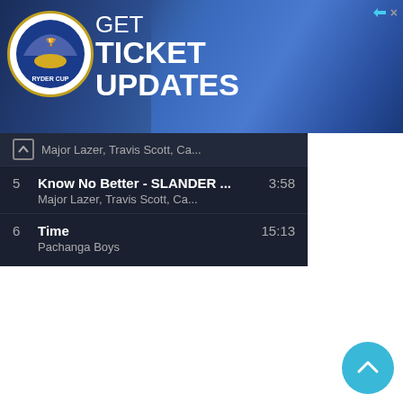[Figure (screenshot): Ryder Cup advertisement banner with text GET TICKET UPDATES, showing golf players in blue uniforms]
Major Lazer, Travis Scott, Ca...
5  Know No Better - SLANDER ...  3:58
Major Lazer, Travis Scott, Ca...
6  Time  15:13
Pachanga Boys
[Figure (logo): Amazon logo with orange arrow]
[Figure (photo): Pioneer DJ DJ Controller product image]
Pioneer DJ DJ Controller, 9.80...
$1,399.90
[Figure (screenshot): Shop now button with Amazon logo]